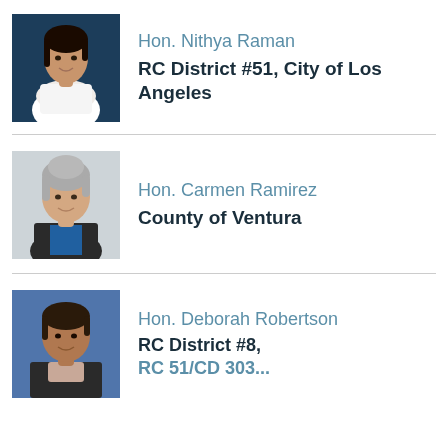[Figure (photo): Portrait photo of Hon. Nithya Raman, a young woman with dark hair, arms crossed, wearing a white top, against a dark blue background.]
Hon. Nithya Raman
RC District #51, City of Los Angeles
[Figure (photo): Portrait photo of Hon. Carmen Ramirez, an older woman with short gray hair, wearing a dark blazer, against a light background.]
Hon. Carmen Ramirez
County of Ventura
[Figure (photo): Portrait photo of Hon. Deborah Robertson, a woman wearing a dark jacket, against a blue background.]
Hon. Deborah Robertson
RC District #8,